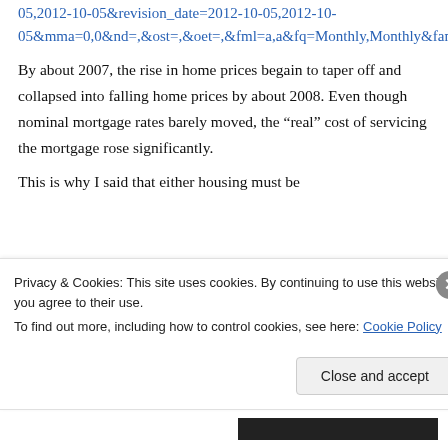05,2012-10-05&revision_date=2012-10-05,2012-10-05&mma=0,0&nd=,&ost=,&oet=,&fml=a,a&fq=Monthly,Monthly&fam=avg,avg&fgst=lin,lin
By about 2007, the rise in home prices begain to taper off and collapsed into falling home prices by about 2008. Even though nominal mortgage rates barely moved, the “real” cost of servicing the mortgage rose significantly.
This is why I said that either housing must be
Privacy & Cookies: This site uses cookies. By continuing to use this website, you agree to their use.
To find out more, including how to control cookies, see here: Cookie Policy